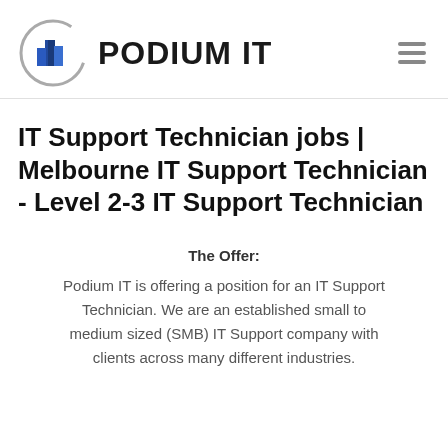PODIUM IT
IT Support Technician jobs | Melbourne IT Support Technician - Level 2-3 IT Support Technician
The Offer:
Podium IT is offering a position for an IT Support Technician. We are an established small to medium sized (SMB) IT Support company with clients across many different industries.